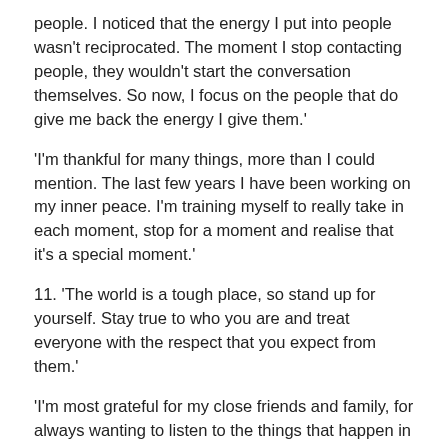people. I noticed that the energy I put into people wasn't reciprocated. The moment I stop contacting people, they wouldn't start the conversation themselves. So now, I focus on the people that do give me back the energy I give them.'
'I'm thankful for many things, more than I could mention. The last few years I have been working on my inner peace. I'm training myself to really take in each moment, stop for a moment and realise that it's a special moment.'
11. 'The world is a tough place, so stand up for yourself. Stay true to who you are and treat everyone with the respect that you expect from them.'
'I'm most grateful for my close friends and family, for always wanting to listen to the things that happen in my own world.'
12. 'The biggest lesson that I have learned this year is that we as people can achieve so much for each other when we work together. This was big year for the fight for equality, and in this year many big historical moments happened because of it. We still have a long way to go, but we can be proud of what...